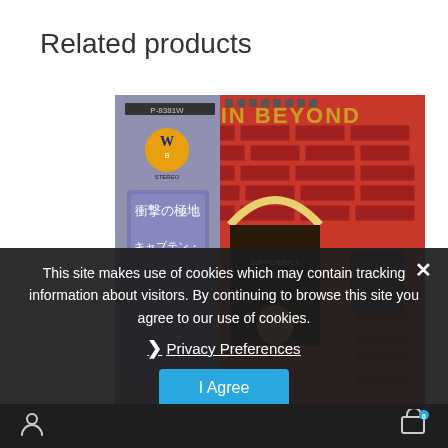Related products
[Figure (photo): Album cover of Captain Beyond 'Sufficiently Breathless' showing a red brick building facade with Japanese text on left side panel and Warner Bros stereo label]
This site makes use of cookies which may contain tracking information about visitors. By continuing to browse this site you agree to our use of cookies.
❯ Privacy Preferences
I Agree